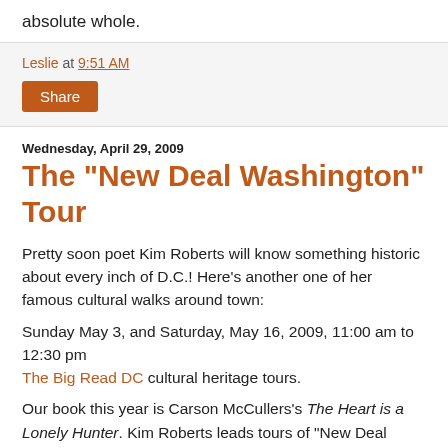absolute whole.
Leslie at 9:51 AM
Share
Wednesday, April 29, 2009
The "New Deal Washington" Tour
Pretty soon poet Kim Roberts will know something historic about every inch of D.C.! Here’s another one of her famous cultural walks around town:
Sunday May 3, and Saturday, May 16, 2009, 11:00 am to 12:30 pm
The Big Read DC cultural heritage tours.
Our book this year is Carson McCullers’s The Heart is a Lonely Hunter. Kim Roberts leads tours of "New Deal Washington" in the Foggy Bottom and Downtown neighborhoods surrounding the White House for The